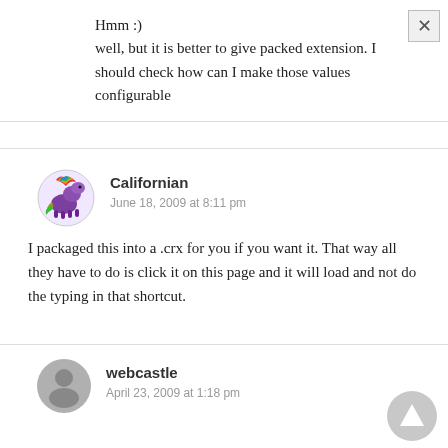Hmm :)
well, but it is better to give packed extension. I should check how can I make those values configurable
[Figure (illustration): Colorful horse avatar for user Californian]
Californian
June 18, 2009 at 8:11 pm
I packaged this into a .crx for you if you want it. That way all they have to do is click it on this page and it will load and not do the typing in that shortcut.
[Figure (illustration): Gray default avatar circle for user webcastle]
webcastle
April 23, 2009 at 1:18 pm
[Figure (illustration): Gray scroll-to-top triangle button]